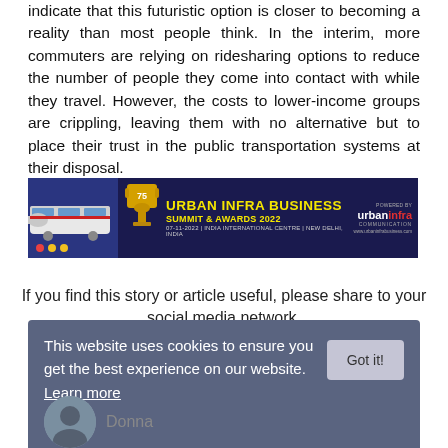indicate that this futuristic option is closer to becoming a reality than most people think. In the interim, more commuters are relying on ridesharing options to reduce the number of people they come into contact with while they travel. However, the costs to lower-income groups are crippling, leaving them with no alternative but to place their trust in the public transportation systems at their disposal.
[Figure (infographic): Urban Infra Business Summit & Awards 2022 advertisement banner with dark blue background, yellow bold title text, trophy icon, bullet dots, train image, and Urban Infra Communication logo on the right.]
If you find this story or article useful, please share to your social media network.
[Figure (infographic): Social media share buttons row: Facebook (blue), Twitter (light blue), LinkedIn (red), Pinterest (teal), WhatsApp (green), scroll-up (dark blue)]
This website uses cookies to ensure you get the best experience on our website. Learn more
Donna